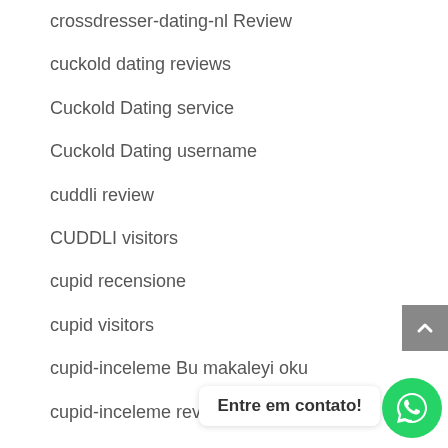crossdresser-dating-nl Review
cuckold dating reviews
Cuckold Dating service
Cuckold Dating username
cuddli review
CUDDLI visitors
cupid recensione
cupid visitors
cupid-inceleme Bu makaleyi oku
cupid-inceleme review
currency exchange payday loans
Curves Conne…
curves connect indir
Entre em contato!